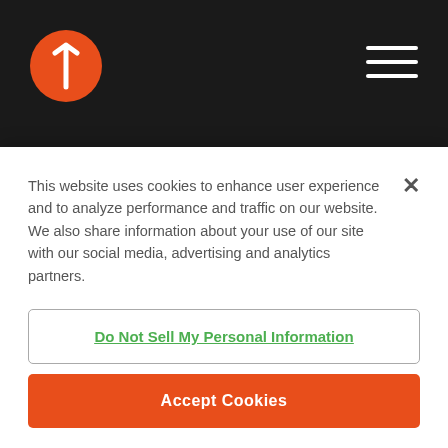Quadient logo and navigation header
County Entrepreneur Of the Year® 2019
May 2019
Quadient Named Overall leader in 2019
This website uses cookies to enhance user experience and to analyze performance and traffic on our website. We also share information about your use of our site with our social media, advertising and analytics partners.
Do Not Sell My Personal Information
Accept Cookies